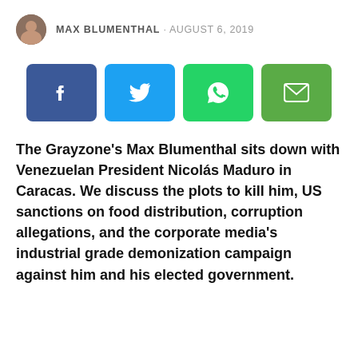MAX BLUMENTHAL · AUGUST 6, 2019
[Figure (infographic): Four social share buttons: Facebook (blue), Twitter (light blue), WhatsApp (green), Email (olive green)]
The Grayzone's Max Blumenthal sits down with Venezuelan President Nicolás Maduro in Caracas. We discuss the plots to kill him, US sanctions on food distribution, corruption allegations, and the corporate media's industrial grade demonization campaign against him and his elected government.